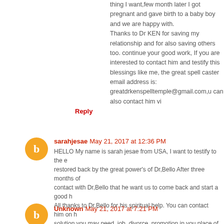thing I want,few month later I got pregnant and gave birth to a baby boy and we are happy with. Thanks to Dr KEN for saving my relationship and for also saving others too. continue your good work, If you are interested to contact him and testify this blessings like me, the great spell caster email address is: greatdrkenspelltemple@gmail.com,u can also contact him vi
Reply
sarahjesae May 21, 2017 at 12:36 PM
HELLO My name is sarah jesae from USA, I want to testify to the restored back by the great power's of Dr,Bello After three months of contact with Dr,Bello that he want us to come back and start a good h All thanks to Dr,Bello for his spiritual help. You can contact him on h solution you may need, job, divorce, promotion in you place of work, h via email: bellospelltemple@gmail.com OR you can also reach him via
Reply
Unknown May 21, 2017 at 7:21 PM